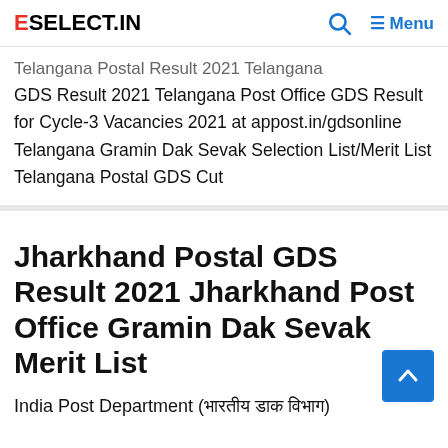ESELECT.IN | Menu
Telangana Postal Result 2021 Telangana GDS Result 2021 Telangana Post Office GDS Result for Cycle-3 Vacancies 2021 at appost.in/gdsonline Telangana Gramin Dak Sevak Selection List/Merit List Telangana Postal GDS Cut
Jharkhand Postal GDS Result 2021 Jharkhand Post Office Gramin Dak Sevak Merit List
India Post Department (भारतीय डाक विभाग)